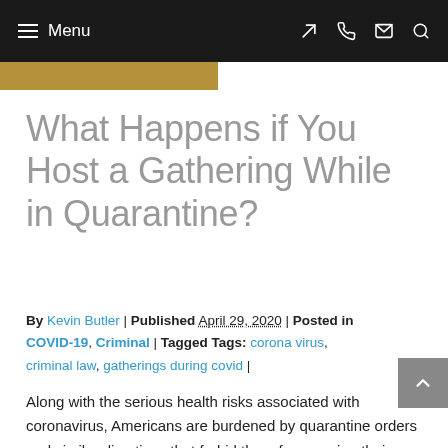Menu
What Happens if You Host a Gathering While in Quarantine?
By Kevin Butler | Published April 29, 2020 | Posted in COVID-19, Criminal | Tagged Tags: corona virus, criminal law, gatherings during covid |
Along with the serious health risks associated with coronavirus, Americans are burdened by quarantine orders and similar directives that forbid them from seeing their loved